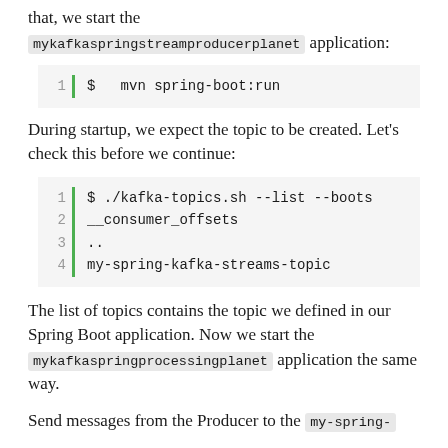that, we start the mykafkaspringstreamproducerplanet application:
1  $  mvn spring-boot:run
During startup, we expect the topic to be created. Let's check this before we continue:
1  $ ./kafka-topics.sh --list --boots
2  __consumer_offsets
3  ..
4  my-spring-kafka-streams-topic
The list of topics contains the topic we defined in our Spring Boot application. Now we start the mykafkaspringprocessingplanet application the same way.
Send messages from the Producer to the my-spring-